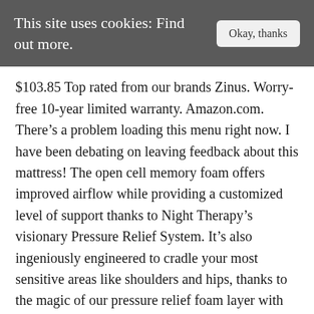This site uses cookies: Find out more.
$103.85 Top rated from our brands Zinus. Worry-free 10-year limited warranty. Amazon.com. There’s a problem loading this menu right now. I have been debating on leaving feedback about this mattress! The open cell memory foam offers improved airflow while providing a customized level of support thanks to Night Therapy’s visionary Pressure Relief System. It’s also ingeniously engineered to cradle your most sensitive areas like shoulders and hips, thanks to the magic of our pressure relief foam layer with permeable zones that concentrate soft support